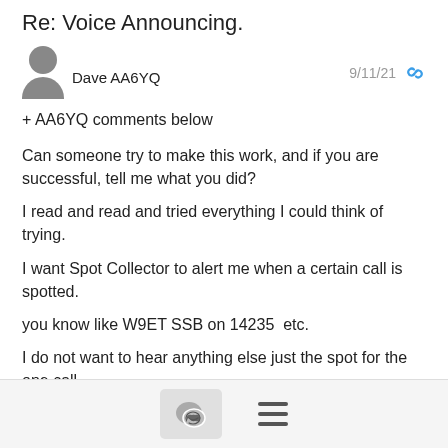Re: Voice Announcing.
Dave AA6YQ  9/11/21
+ AA6YQ comments below
Can someone try to make this work, and if you are successful, tell me what you did?
I read and read and tried everything I could think of trying.
I want Spot Collector to alert me when a certain call is spotted.
you know like W9ET SSB on 14235  etc.
I do not want to hear anything else just the spot for the one call.
no "DX!" or any other voicings.  just the spot when the one call